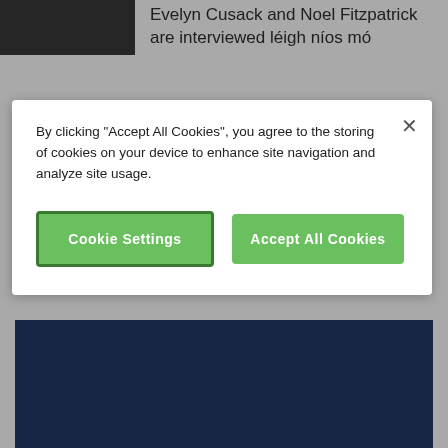[Figure (screenshot): Dark blurred image thumbnail in top-left corner of background webpage]
Evelyn Cusack and Noel Fitzpatrick are interviewed  léigh níos mó
Twitter
Tweets by MetEireann
Talmhaíocht
Muirí
By clicking "Accept All Cookies", you agree to the storing of cookies on your device to enhance site navigation and analyze site usage.
Cookie Settings
Accept All Cookies